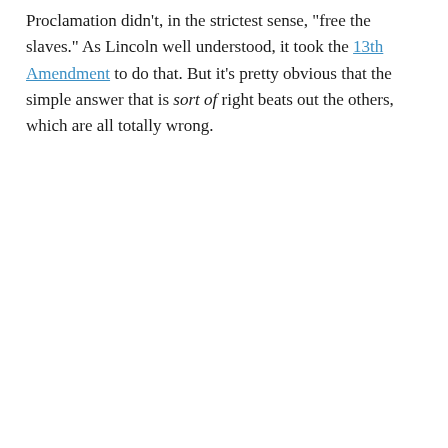Proclamation didn't, in the strictest sense, “free the slaves.” As Lincoln well understood, it took the 13th Amendment to do that. But it’s pretty obvious that the simple answer that is sort of right beats out the others, which are all totally wrong.